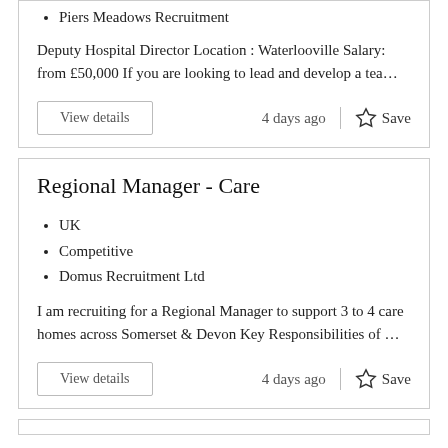Piers Meadows Recruitment
Deputy Hospital Director Location : Waterlooville Salary: from £50,000 If you are looking to lead and develop a tea…
View details
4 days ago
Save
Regional Manager - Care
UK
Competitive
Domus Recruitment Ltd
I am recruiting for a Regional Manager to support 3 to 4 care homes across Somerset & Devon Key Responsibilities of …
View details
4 days ago
Save